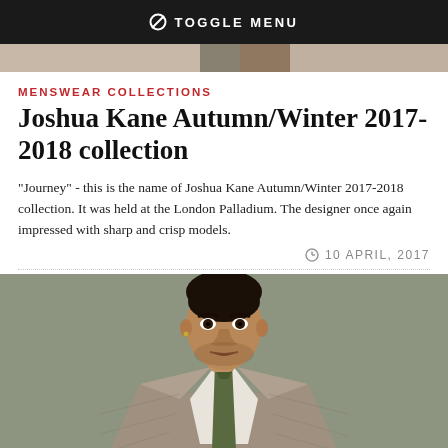TOGGLE MENU
[Figure (photo): Image strip showing fashion/fabric detail at top of page]
MENSWEAR COLLECTIONS
Joshua Kane Autumn/Winter 2017-2018 collection
"Journey" - this is the name of Joshua Kane Autumn/Winter 2017-2018 collection. It was held at the London Palladium. The designer once again impressed with sharp and crisp models.
10 APRIL, 2017
[Figure (photo): Portrait photo of a male model wearing a grey checked suit with olive green tie and white shirt, looking directly at camera]